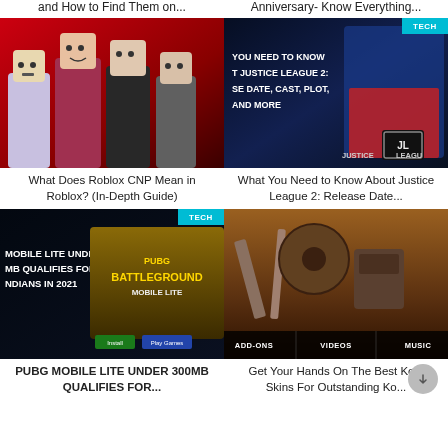and How to Find Them on...
Anniversary- Know Everything...
[Figure (photo): Roblox characters in red and dark tones]
[Figure (photo): Justice League 2 promotional image with Superman and JL logo, text: YOU NEED TO KNOW ABOUT JUSTICE LEAGUE 2: RELEASE DATE, CAST, PLOT, AND MORE]
What Does Roblox CNP Mean in Roblox? (In-Depth Guide)
What You Need to Know About Justice League 2: Release Date...
[Figure (screenshot): PUBG Mobile Lite under 300MB qualifies for Indians in 2021 - screenshot with game logo and TECH badge]
[Figure (screenshot): Kodi media player interface showing ADD-ONS, VIDEOS, MUSIC tabs with tools in background]
PUBG MOBILE LITE UNDER 300MB QUALIFIES FOR...
Get Your Hands On The Best Kodi Skins For Outstanding Ko...